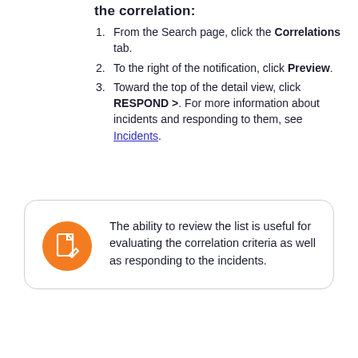the correlation:
From the Search page, click the Correlations tab.
To the right of the notification, click Preview.
Toward the top of the detail view, click RESPOND >. For more information about incidents and responding to them, see Incidents.
[Figure (illustration): Orange circular icon with a white document/edit symbol]
The ability to review the list is useful for evaluating the correlation criteria as well as responding to the incidents.